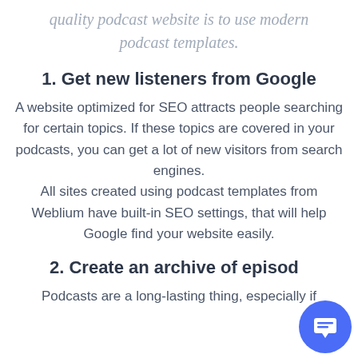quality podcast website is to use modern podcast templates.
1. Get new listeners from Google
A website optimized for SEO attracts people searching for certain topics. If these topics are covered in your podcasts, you can get a lot of new visitors from search engines. All sites created using podcast templates from Weblium have built-in SEO settings, that will help Google find your website easily.
2. Create an archive of episodes
Podcasts are a long-lasting thing, especially if